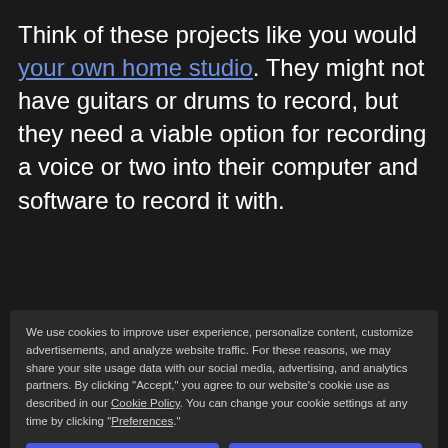Think of these projects like you would your own home studio. They might not have guitars or drums to record, but they need a viable option for recording a voice or two into their computer and software to record it with.
Wouldn't you consider yourself a better advisor on the matter than most others?
We use cookies to improve user experience, personalize content, customize advertisements, and analyze website traffic. For these reasons, we may share your site usage data with our social media, advertising, and analytics partners. By clicking "Accept," you agree to our website's cookie use as described in our Cookie Policy. You can change your cookie settings at any time by clicking "Preferences."
Editing Podcast Episodes
I like to think of the quality of podcasts in stages, with the biggest hurdle being the one we just discussed: getting podcasters to use the right